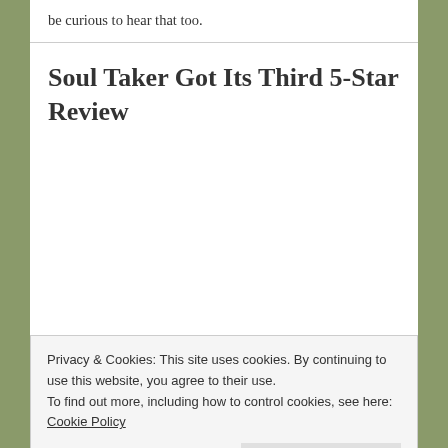be curious to hear that too.
Soul Taker Got Its Third 5-Star Review
Privacy & Cookies: This site uses cookies. By continuing to use this website, you agree to their use. To find out more, including how to control cookies, see here: Cookie Policy
Close and accept
series, got its third 5-star review. This is